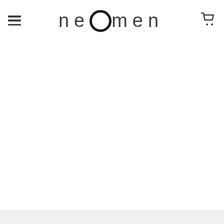[Figure (logo): neomen brand logo with hamburger menu icon on left and shopping cart icon on right, all in dark slate color]
· ·